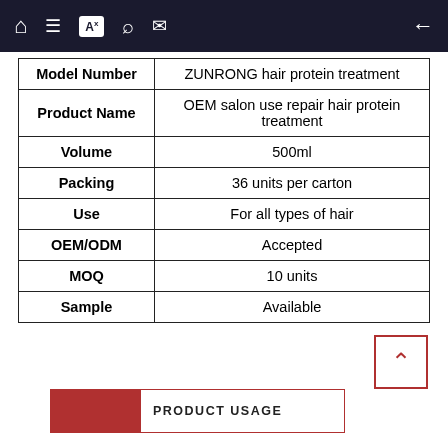Navigation bar with home, list, translate, search, mail icons and back arrow
| Attribute | Value |
| --- | --- |
| Model Number | ZUNRONG hair protein treatment |
| Product Name | OEM salon use repair hair protein treatment |
| Volume | 500ml |
| Packing | 36 units per carton |
| Use | For all types of hair |
| OEM/ODM | Accepted |
| MOQ | 10 units |
| Sample | Available |
[Figure (other): Back to top button with upward chevron in red border]
[Figure (infographic): PRODUCT USAGE banner with red filled block on left and text on right inside red border]
Recombine reorganization +repair， Restore + conserve and